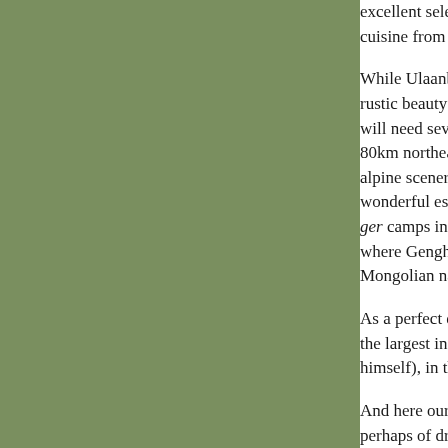excellent selection of restaurants, bars and pubs that serve cuisine from all over the world.
While Ulaanbaatar is definitely a fun place to be in, the rustic beauty of its unspoiled countryside and its many ... will need several more weeks and other modes of transport. 80km northeast of Ulaanbaatar and part of the trans... alpine scenery and many opportunities for hiking, ... wonderful escape from the hustle and bustle of Ul... ger camps in the area. En route to Terelj, you coul... where Genghis Khan found his golden whip. Gaw... Mongolian national hero astride his horse.
As a perfect end to an astonishing journey, take a... the largest in the world, and stare the rather bemu... himself), in the face.
And here our Trans-Siberian Railway guide finall... perhaps of dried fish, vodka, and cigarettes, you h... life's greatest adventures. And, assuming you pac...